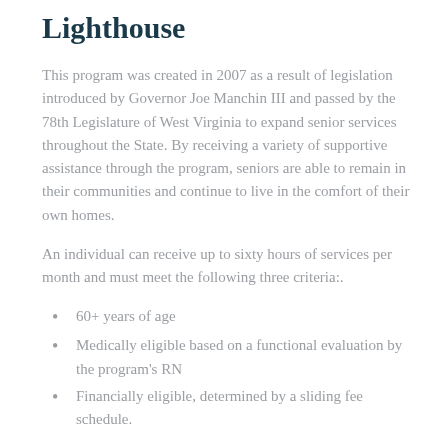Lighthouse
This program was created in 2007 as a result of legislation introduced by Governor Joe Manchin III and passed by the 78th Legislature of West Virginia to expand senior services throughout the State. By receiving a variety of supportive assistance through the program, seniors are able to remain in their communities and continue to live in the comfort of their own homes.
An individual can receive up to sixty hours of services per month and must meet the following three criteria:.
60+ years of age
Medically eligible based on a functional evaluation by the program's RN
Financially eligible, determined by a sliding fee schedule.